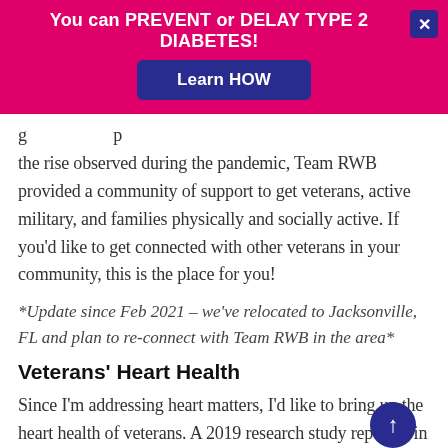You can PREVENT or DELAY TYPE 2 DIABETES! Learn HOW
the rise observed during the pandemic, Team RWB provided a community of support to get veterans, active military, and families physically and socially active. If you'd like to get connected with other veterans in your community, this is the place for you!
*Update since Feb 2021 – we've relocated to Jacksonville, FL and plan to re-connect with Team RWB in the area*
Veterans' Heart Health
Since I'm addressing heart matters, I'd like to bring up the heart health of veterans. A 2019 research study reported in Science Daily the higher likelihood